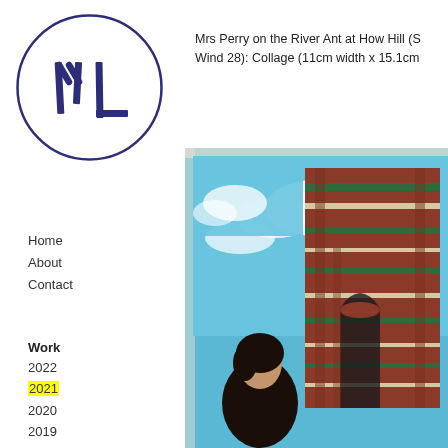[Figure (logo): Circular logo with stylized ML lettermark in dark navy blue ink stamp style]
Home
About
Contact
Work
2022
2021
2020
2019
2018
2017
2016
2015
Mrs Perry on the River Ant at How Hill (S Wind 28): Collage (11cm width x 15.1cm
[Figure (photo): Collage artwork showing a woman's figure against an Italian cathedral (Florence Duomo) postcard background with blue sky and clouds]